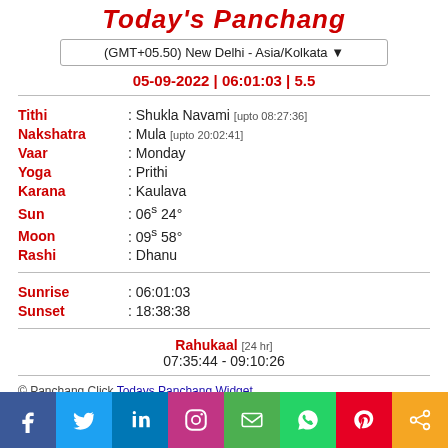Today's Panchang
(GMT+05.50) New Delhi - Asia/Kolkata
05-09-2022 | 06:01:03 | 5.5
Tithi : Shukla Navami [upto 08:27:36]
Nakshatra : Mula [upto 20:02:41]
Vaar : Monday
Yoga : Prithi
Karana : Kaulava
Sun : 06s 24°
Moon : 09s 58°
Rashi : Dhanu
Sunrise : 06:01:03
Sunset : 18:38:38
Rahukaal [24 hr] 07:35:44 - 09:10:26
© Panchang.Click Todays Panchang Widget.